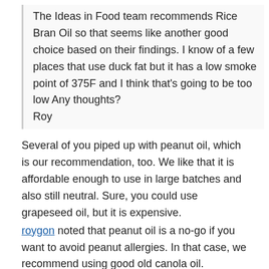The Ideas in Food team recommends Rice Bran Oil so that seems like another good choice based on their findings. I know of a few places that use duck fat but it has a low smoke point of 375F and I think that's going to be too low Any thoughts?
Roy
Several of you piped up with peanut oil, which is our recommendation, too. We like that it is affordable enough to use in large batches and also still neutral. Sure, you could use grapeseed oil, but it is expensive.
roygon noted that peanut oil is a no-go if you want to avoid peanut allergies. In that case, we recommend using good old canola oil. Remember, the more used the oil, the better. Oil that has been used two or three times already will give your fries that nice brown coloring.
5. Borgstrom asked what the best wood chips are for smoking pastrami.
Gernally, we like using and stone fruit chips, like cherry or nectarine. Anything dry and hardy will do. The really important thing, more so than type of chips, is how hot they are. This will affect your pastrami more.